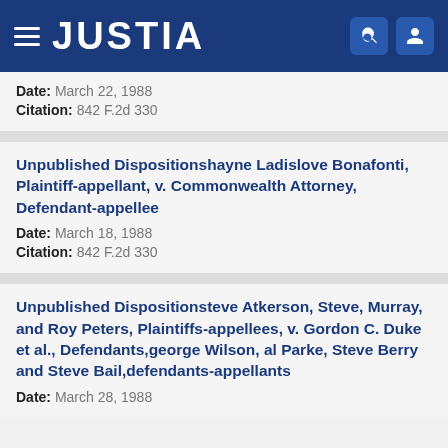JUSTIA
Date: March 22, 1988
Citation: 842 F.2d 330
Unpublished Dispositionshayne Ladislove Bonafonti, Plaintiff-appellant, v. Commonwealth Attorney, Defendant-appellee
Date: March 18, 1988
Citation: 842 F.2d 330
Unpublished Dispositionsteve Atkerson, Steve, Murray, and Roy Peters, Plaintiffs-appellees, v. Gordon C. Duke et al., Defendants,george Wilson, al Parke, Steve Berry and Steve Bail,defendants-appellants
Date: March 28, 1988